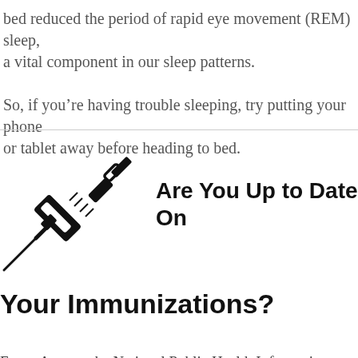bed reduced the period of rapid eye movement (REM) sleep, a vital component in our sleep patterns.

So, if you're having trouble sleeping, try putting your phone or tablet away before heading to bed.
[Figure (illustration): Black and white illustration of a medical syringe/needle pointing diagonally downward to the left]
Are You Up to Date On Your Immunizations?
Every August, the National Public Health Information Coalition sponsors National Immunization Awareness Month to promote the importance of immunizations at all life stages. Vaccination protects everyone, from infants to the elderly, from serious illnesses and complications of vaccine